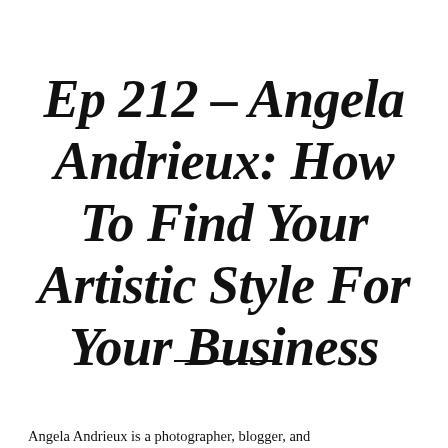Ep 212 – Angela Andrieux: How To Find Your Artistic Style For Your Business
Angela Andrieux is a photographer, blogger, and